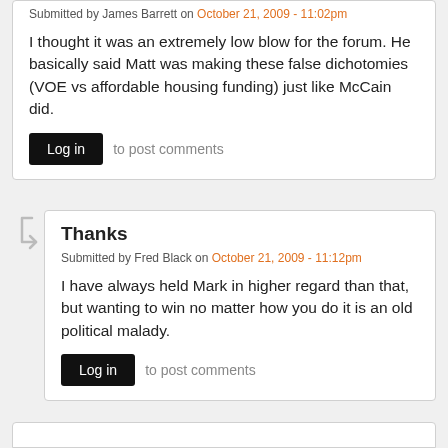Submitted by James Barrett on October 21, 2009 - 11:02pm
I thought it was an extremely low blow for the forum. He basically said Matt was making these false dichotomies (VOE vs affordable housing funding) just like McCain did.
Log in to post comments
Thanks
Submitted by Fred Black on October 21, 2009 - 11:12pm
I have always held Mark in higher regard than that, but wanting to win no matter how you do it is an old political malady.
Log in to post comments